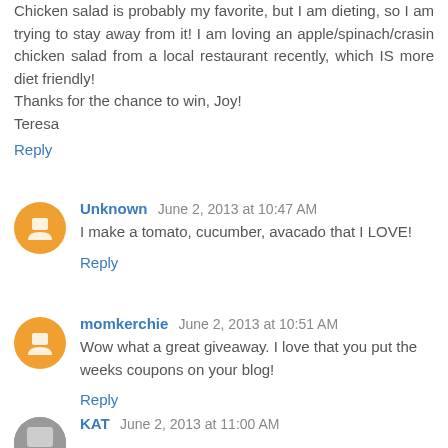Chicken salad is probably my favorite, but I am dieting, so I am trying to stay away from it! I am loving an apple/spinach/crasin chicken salad from a local restaurant recently, which IS more diet friendly!
Thanks for the chance to win, Joy!
Teresa
Reply
Unknown  June 2, 2013 at 10:47 AM
I make a tomato, cucumber, avacado that I LOVE!
Reply
momkerchie  June 2, 2013 at 10:51 AM
Wow what a great giveaway. I love that you put the weeks coupons on your blog!
Reply
KAT  June 2, 2013 at 11:00 AM